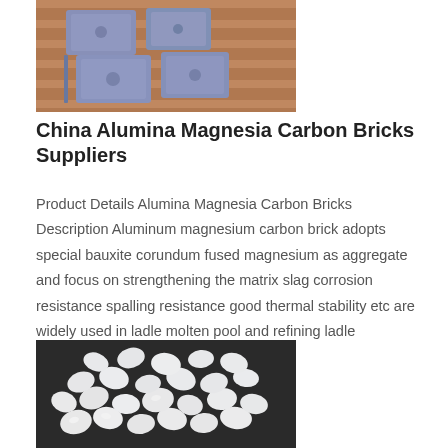[Figure (photo): Purple/blue alumina magnesia carbon bricks stacked on wooden pallets]
China Alumina Magnesia Carbon Bricks Suppliers
Product Details Alumina Magnesia Carbon Bricks Description Aluminum magnesium carbon brick adopts special bauxite corundum fused magnesium as aggregate and focus on strengthening the matrix slag corrosion resistance spalling resistance good thermal stability etc are widely used in ladle molten pool and refining ladle metallurgy equipment such as
[Figure (photo): White crystalline granules (fused magnesium or bauxite corundum) scattered on a dark surface]